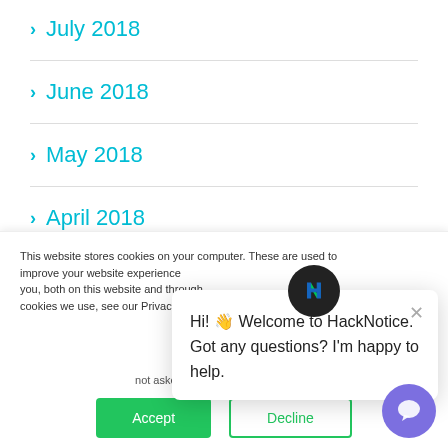> July 2018
> June 2018
> May 2018
> April 2018
> March 2018
This website stores cookies on your computer. These are used to improve your website experience you, both on this website and through cookies we use, see our Privacy P...
We won't track your site. But in order to we'll have to use ju not asked to make this choice again.
Hi! 👋 Welcome to HackNotice. Got any questions? I'm happy to help.